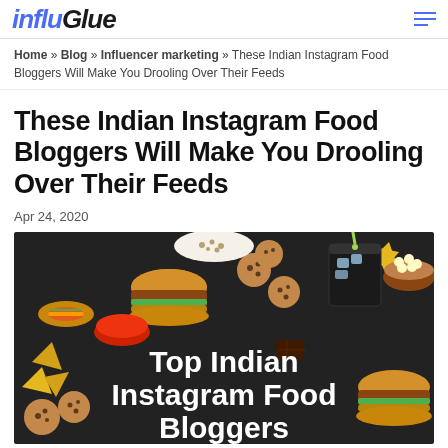influGlue
Home » Blog » Influencer marketing » These Indian Instagram Food Bloggers Will Make You Drooling Over Their Feeds
These Indian Instagram Food Bloggers Will Make You Drooling Over Their Feeds
Apr 24, 2020
[Figure (photo): Food spread on dark background with burgers, cookies, nachos, hot dog, drinks, and text overlay reading 'Top Indian Instagram Food Bloggers']